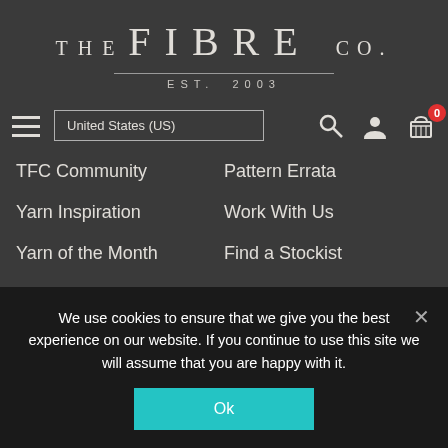THE FIBRE CO.
EST. 2003
TFC Community
Yarn Inspiration
Yarn of the Month
Learn with us
Pattern Errata
Work With Us
Find a Stockist
Become a Stockist
About
Community
We use cookies to ensure that we give you the best experience on our website. If you continue to use this site we will assume that you are happy with it.